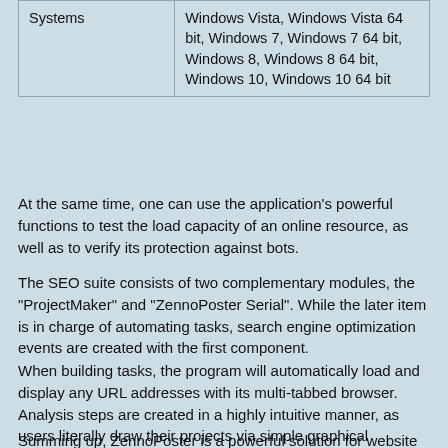| Systems | Windows Vista, Windows Vista 64 bit, Windows 7, Windows 7 64 bit, Windows 8, Windows 8 64 bit, Windows 10, Windows 10 64 bit |
At the same time, one can use the application's powerful functions to test the load capacity of an online resource, as well as to verify its protection against bots.
The SEO suite consists of two complementary modules, the "ProjectMaker" and "ZennoPoster Serial". While the later item is in charge of automating tasks, search engine optimization events are created with the first component.
When building tasks, the program will automatically load and display any URL addresses with its multi-tabbed browser. Analysis steps are created in a highly intuitive manner, as users literally draw their projects via simple graphical elements linked with logical connectors. Among the items one can use are profile and variable processors, tables or tabs operators, as well as HTTP GET and POST requests.
Summing up, ZennoPoster is a powerful solution for website